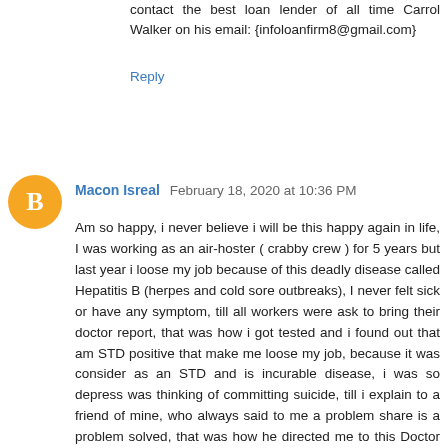contact the best loan lender of all time Carrol Walker on his email: {infoloanfirm8@gmail.com}
Reply
[Figure (other): Orange circular blogger avatar icon with letter B]
Macon Isreal  February 18, 2020 at 10:36 PM
Am so happy, i never believe i will be this happy again in life, I was working as an air-hoster ( crabby crew ) for 5 years but last year i loose my job because of this deadly disease called Hepatitis B (herpes and cold sore outbreaks), I never felt sick or have any symptom, till all workers were ask to bring their doctor report, that was how i got tested and i found out that am STD positive that make me loose my job, because it was consider as an STD and is incurable disease, i was so depress was thinking of committing suicide, till i explain to a friend of mine, who always said to me a problem share is a problem solved, that was how he directed me to this Doctor Called Dr Kabir that was how i contacted him on (+2348063747378) and i get medication from him and i got cured for real, I just went back to my work and they also carry out the test to be real sure and i was negative. Please contact Dr kabir if you a